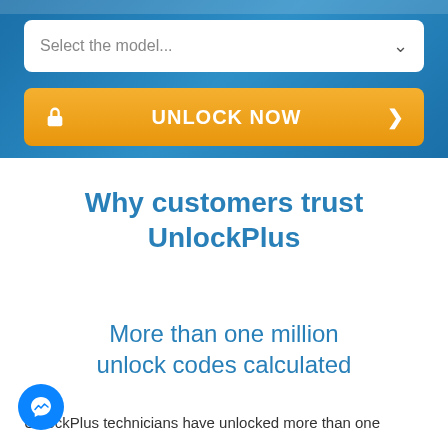[Figure (screenshot): Blue background section with a white dropdown input labeled 'Select the model...' and an orange 'UNLOCK NOW' button with a lock icon and right arrow]
Why customers trust UnlockPlus
More than one million unlock codes calculated
UnlockPlus technicians have unlocked more than one
[Figure (illustration): Facebook Messenger chat button (blue circle with white lightning bolt/messenger icon) in bottom left corner]